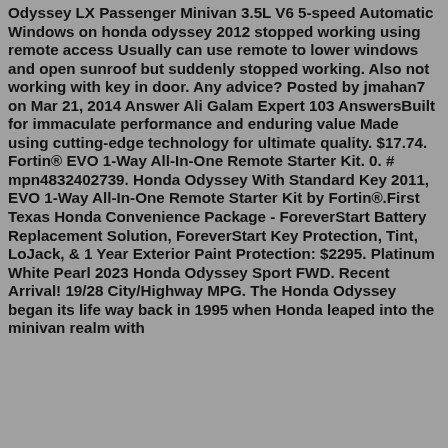Odyssey LX Passenger Minivan 3.5L V6 5-speed Automatic Windows on honda odyssey 2012 stopped working using remote access Usually can use remote to lower windows and open sunroof but suddenly stopped working. Also not working with key in door. Any advice? Posted by jmahan7 on Mar 21, 2014 Answer Ali Galam Expert 103 AnswersBuilt for immaculate performance and enduring value Made using cutting-edge technology for ultimate quality. $17.74. Fortin® EVO 1-Way All-In-One Remote Starter Kit. 0. # mpn4832402739. Honda Odyssey With Standard Key 2011, EVO 1-Way All-In-One Remote Starter Kit by Fortin®.First Texas Honda Convenience Package - ForeverStart Battery Replacement Solution, ForeverStart Key Protection, Tint, LoJack, & 1 Year Exterior Paint Protection: $2295. Platinum White Pearl 2023 Honda Odyssey Sport FWD. Recent Arrival! 19/28 City/Highway MPG. The Honda Odyssey began its life way back in 1995 when Honda leaped into the minivan realm with